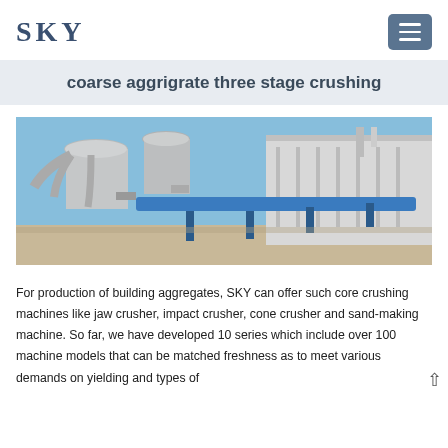SKY
coarse aggrigrate three stage crushing
[Figure (photo): Industrial crushing facility with large conical crusher machines, conveyor belts painted blue, and a warehouse building in the background under a clear blue sky.]
For production of building aggregates, SKY can offer such core crushing machines like jaw crusher, impact crusher, cone crusher and sand-making machine. So far, we have developed 10 series which include over 100 machine models that can be matched freshness as to meet various demands on yielding and types of